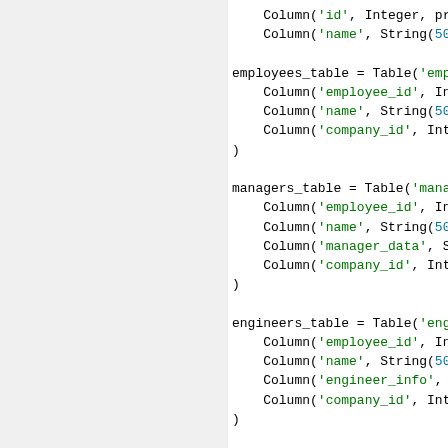[Figure (screenshot): Python SQLAlchemy code snippet showing table and mapper definitions for employees, managers, engineers, and companies with inheritance.]